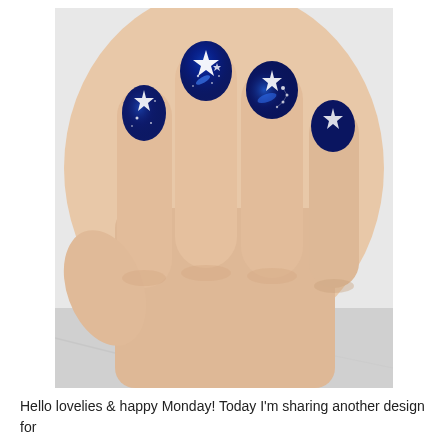[Figure (photo): Close-up photo of a hand with nails painted in dark navy blue galaxy/space nail art featuring white star designs and glittery blue shimmer, against a marble background.]
Hello lovelies & happy Monday! Today I'm sharing another design for